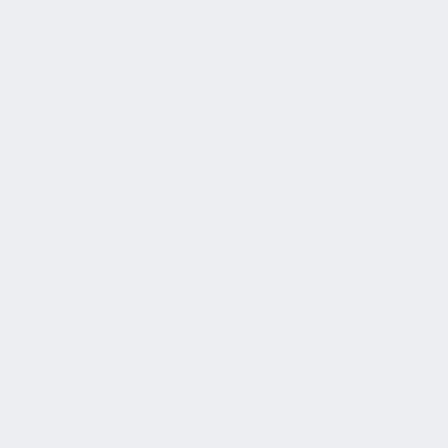With the onset of the Coronavirus pa pool deck to spend more time with h immense amount of experience and
As Coach Emeritus, he will continue coaches and occasionally doing som influenced the lives of thousands of be forgotten.
Tags: Ron jacks mentoring 2022
Season: 2021-2022
[Figure (other): Facebook and Twitter social media share icons side by side]